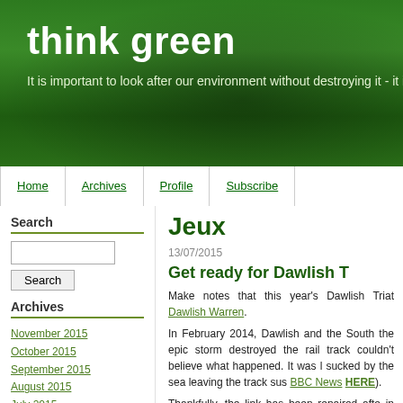think green
It is important to look after our environment without destroying it - it is
Home | Archives | Profile | Subscribe
Search
Archives
November 2015
October 2015
September 2015
August 2015
July 2015
June 2015
May 2015
April 2015
March 2015
Jeux
13/07/2015
Get ready for Dawlish T
Make notes that this year's Dawlish Triat Dawlish Warren.
In February 2014, Dawlish and the South the epic storm destroyed the rail track couldn't believe what happened. It was l sucked by the sea leaving the track sus BBC News HERE).
Thankfully, the link has been repaired afte in this seaside town.